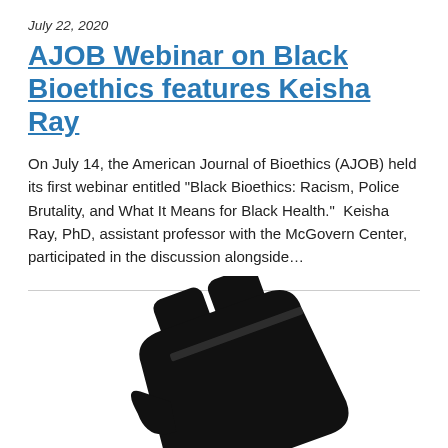July 22, 2020
AJOB Webinar on Black Bioethics features Keisha Ray
On July 14, the American Journal of Bioethics (AJOB) held its first webinar entitled “Black Bioethics: Racism, Police Brutality, and What It Means for Black Health.”  Keisha Ray, PhD, assistant professor with the McGovern Center, participated in the discussion alongside…
[Figure (logo): Black fist / raised fist logo graphic in black silhouette, cropped at bottom of page]